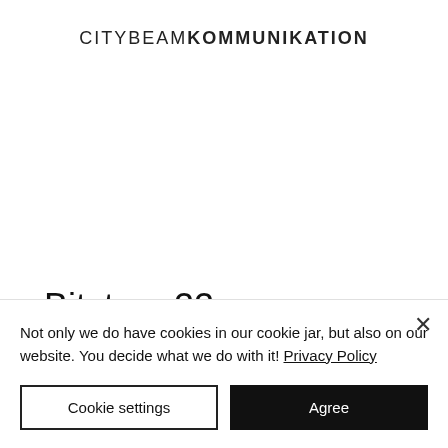CITYBEAMKOMMUNIKATION
Bitstarz 22
A rotator is a collection of trusted websites
Not only we do have cookies in our cookie jar, but also on our website. You decide what we do with it! Privacy Policy
Cookie settings
Agree